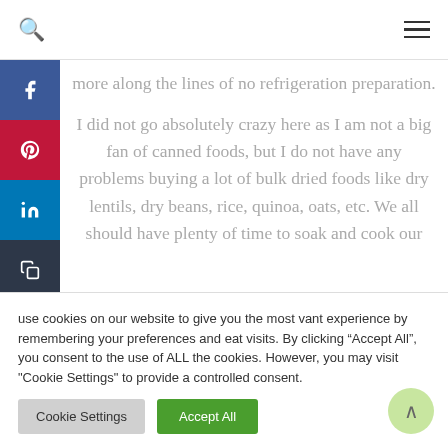[navigation bar with search icon and hamburger menu]
more along the lines of no refrigeration preparation.
I did not go absolutely crazy here as I am not a big fan of canned foods, but I do not have any problems buying a lot of bulk dried foods like dry lentils, dry beans, rice, quinoa, oats, etc. We all should have plenty of time to soak and cook our
use cookies on our website to give you the most vant experience by remembering your preferences and eat visits. By clicking “Accept All”, you consent to the use of ALL the cookies. However, you may visit "Cookie Settings" to provide a controlled consent.